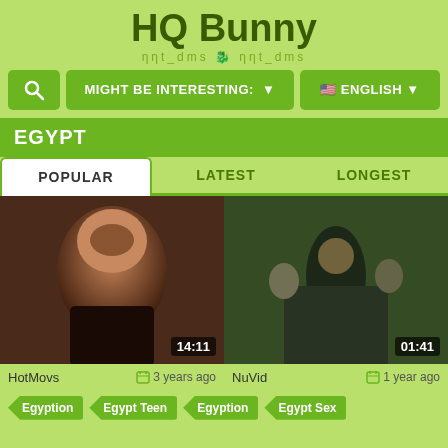HQ Bunny
ηηt_dms (?) ηηt_dms
[Figure (screenshot): Navigation bar with search icon, 'MIGHT BE INTERESTING:' dropdown, and English language selector with US flag]
EGYPT
POPULAR | LATEST | LONGEST
[Figure (photo): Two video thumbnails side by side: left shows a woman with duration 14:11, right shows a crowd scene with duration 01:41]
HotMovs   3 years ago   NuVid   1 year ago
Egyption   Egypt Teen   Egyption   Egypt Sex